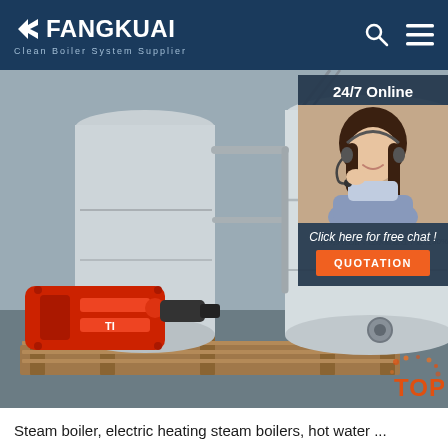FANGKUAI Clean Boiler System Supplier
[Figure (photo): Industrial steam boilers with red burner unit in foreground, large white cylindrical boiler tanks on wooden pallets in an industrial facility. An overlay on the right shows a 24/7 online customer support chat widget with a smiling woman wearing a headset, 'Click here for free chat!' text, and an orange QUOTATION button. A 'TOP' navigation button appears in the bottom right corner.]
Steam boiler, electric heating steam boilers, hot water ...